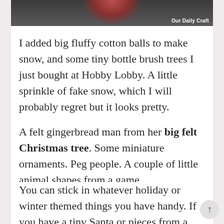[Figure (photo): Partial photo of a Christmas/holiday craft scene with dark background and reddish decorative element, with 'Our Daily Craft' watermark in bottom right corner]
I added big fluffy cotton balls to make snow, and some tiny bottle brush trees I just bought at Hobby Lobby. A little sprinkle of fake snow, which I will probably regret but it looks pretty.
A felt gingerbread man from her big felt Christmas tree. Some miniature ornaments. Peg people. A couple of little animal shapes from a game.
You can stick in whatever holiday or winter themed things you have handy. If you have a tiny Santa or pieces from a wee nativity scene, you